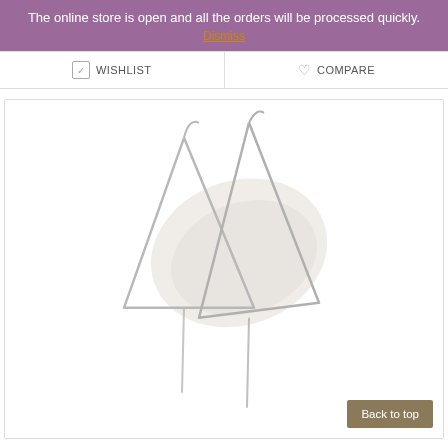The online store is open and all the orders will be processed quickly.
Dismiss
WISHLIST
COMPARE
[Figure (photo): Product photo of silver geometric triangular wire earrings resting against a white stone/shell background]
Back to top